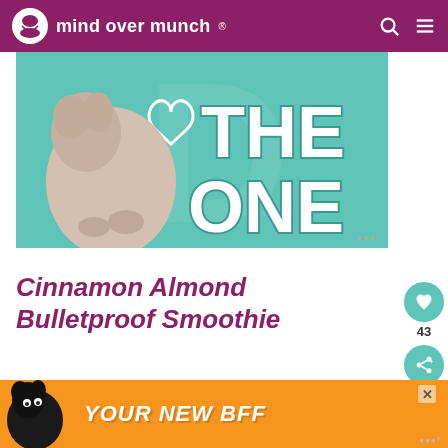mind over munch
[Figure (photo): Promotional banner image with a dog and teal background with text 'THE ONE']
Cinnamon Almond Bulletproof Smoothie
[Figure (photo): Partial photo of a smoothie drink with blurred background]
[Figure (photo): Bottom advertisement banner with dog image and text 'YOUR NEW BFF' on orange background]